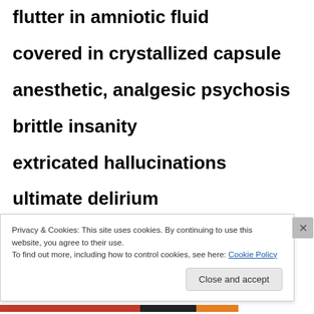flutter in amniotic fluid
covered in crystallized capsule
anesthetic, analgesic psychosis
brittle insanity
extricated hallucinations
ultimate delirium
dulled disorientation
Privacy & Cookies: This site uses cookies. By continuing to use this website, you agree to their use. To find out more, including how to control cookies, see here: Cookie Policy
Close and accept